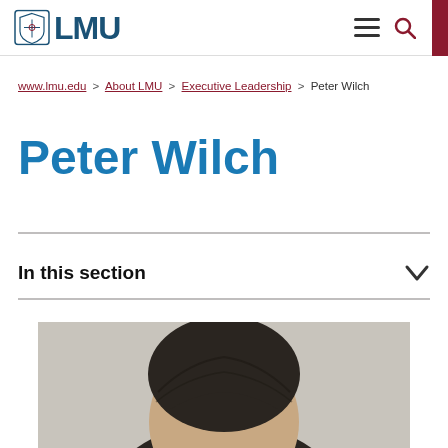LMU
www.lmu.edu > About LMU > Executive Leadership > Peter Wilch
Peter Wilch
In this section
[Figure (photo): Portrait photo of Peter Wilch, showing the top of his head with dark hair against a light grey background]